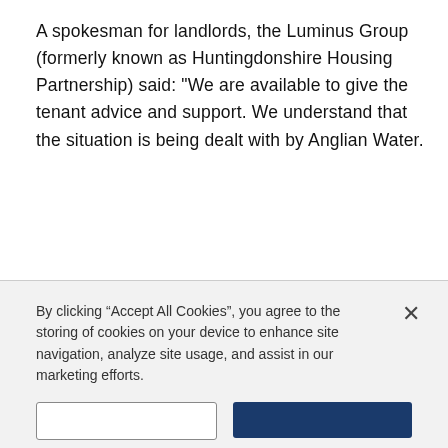A spokesman for landlords, the Luminus Group (formerly known as Huntingdonshire Housing Partnership) said: "We are available to give the tenant advice and support. We understand that the situation is being dealt with by Anglian Water.
By clicking “Accept All Cookies”, you agree to the storing of cookies on your device to enhance site navigation, analyze site usage, and assist in our marketing efforts.